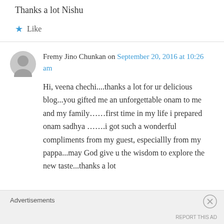Thanks a lot Nishu
★ Like
Fremy Jino Chunkan on September 20, 2016 at 10:26 am
Hi, veena chechi....thanks a lot for ur delicious blog...you gifted me an unforgettable onam to me and my family……first time in my life i prepared onam sadhya …….i got such a wonderful compliments from my guest, especiallly from my pappa...may God give u the wisdom to explore the new taste...thanks a lot
Advertisements